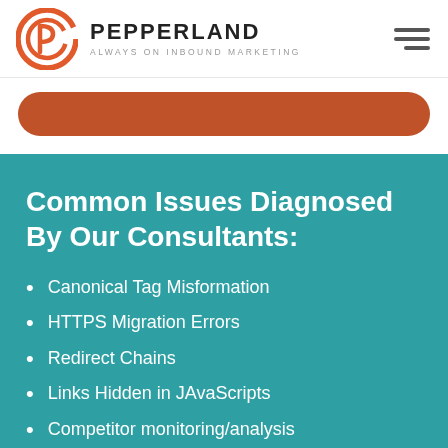[Figure (logo): Pepperland Marketing logo with orange circular P icon and text PEPPERLAND / ALWAYS ON INBOUND MARKETING]
[Figure (other): Orange rounded rectangle button (call-to-action button, partially visible)]
Common Issues Diagnosed By Our Consultants:
Canonical Tag Misformation
HTTPS Migration Errors
Redirect Chains
Links Hidden in JAvaScripts
Competitor monitoring/analysis